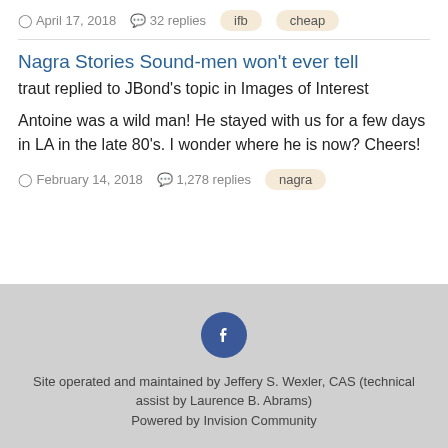April 17, 2018  32 replies  ifb  cheap
Nagra Stories Sound-men won't ever tell
traut replied to JBond's topic in Images of Interest
Antoine was a wild man! He stayed with us for a few days in LA in the late 80's. I wonder where he is now? Cheers!
February 14, 2018  1,278 replies  nagra
[Figure (logo): Facebook circular logo icon in dark blue]
Site operated and maintained by Jeffery S. Wexler, CAS (technical assist by Laurence B. Abrams)
Powered by Invision Community